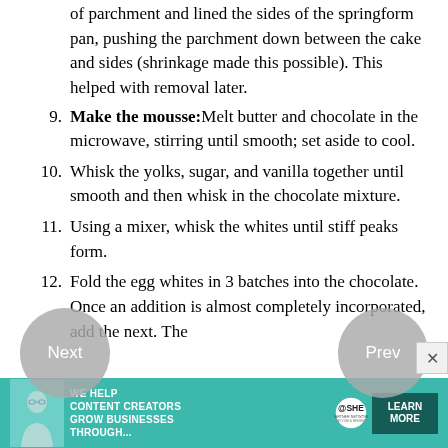of parchment and lined the sides of the springform pan, pushing the parchment down between the cake and sides (shrinkage made this possible). This helped with removal later.
9. Make the mousse: Melt butter and chocolate in the microwave, stirring until smooth; set aside to cool.
10. Whisk the yolks, sugar, and vanilla together until smooth and then whisk in the chocolate mixture.
11. Using a mixer, whisk the whites until stiff peaks form.
12. Fold the egg whites in 3 batches into the chocolate. Once an addition is almost completely incorporated, add the next. The
[Figure (infographic): Advertisement banner for SHE Media Partner Network. Teal/green background with woman photo, text: WE HELP CONTENT CREATORS GROW BUSINESSES THROUGH... SHE PARTNER NETWORK BECOME A MEMBER. LEARN MORE button.]